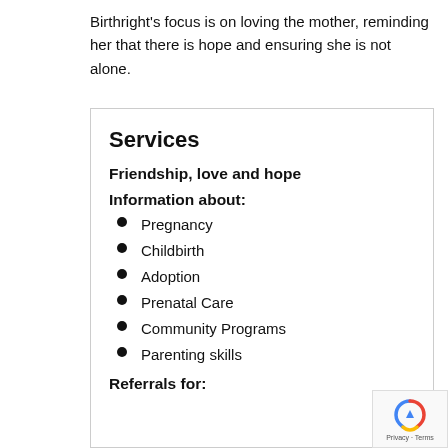Birthright's focus is on loving the mother, reminding her that there is hope and ensuring she is not alone.
Services
Friendship, love and hope
Information about:
Pregnancy
Childbirth
Adoption
Prenatal Care
Community Programs
Parenting skills
Referrals for: